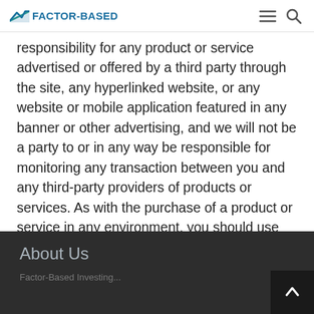FACTOR-BASED
responsibility for any product or service advertised or offered by a third party through the site, any hyperlinked website, or any website or mobile application featured in any banner or other advertising, and we will not be a party to or in any way be responsible for monitoring any transaction between you and any third-party providers of products or services. As with the purchase of a product or service in any environment, you should use your best judgment and exercise caution where appropriate.
About Us
Factor-Based Investing...